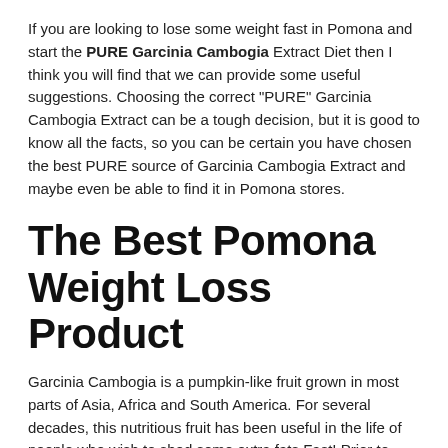If you are looking to lose some weight fast in Pomona and start the PURE Garcinia Cambogia Extract Diet then I think you will find that we can provide some useful suggestions. Choosing the correct "PURE" Garcinia Cambogia Extract can be a tough decision, but it is good to know all the facts, so you can be certain you have chosen the best PURE source of Garcinia Cambogia Extract and maybe even be able to find it in Pomona stores.
The Best Pomona Weight Loss Product
Garcinia Cambogia is a pumpkin-like fruit grown in most parts of Asia, Africa and South America. For several decades, this nutritious fruit has been useful in the life of people who wish to shed some extra fats Fast! Prior to advancements in technology which have made extractions possible, this fruit was used as a spice in the preparation of local dishes because its aroma was said to reduce hunger pang intervals in humans. In some Asian countries such as Malaysia and Indonesia, this fruit was eaten raw for the same purpose. Though the working